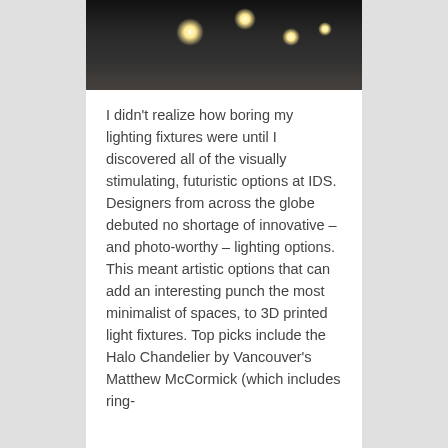[Figure (photo): Dark interior ceiling photograph showing circular ring lights installed in a ceiling, with light reflections visible on the floor below. The image is dark/moody with bright circular light fixtures.]
I didn't realize how boring my lighting fixtures were until I discovered all of the visually stimulating, futuristic options at IDS. Designers from across the globe debuted no shortage of innovative – and photo-worthy – lighting options. This meant artistic options that can add an interesting punch the most minimalist of spaces, to 3D printed light fixtures. Top picks include the Halo Chandelier by Vancouver's Matthew McCormick (which includes ring-